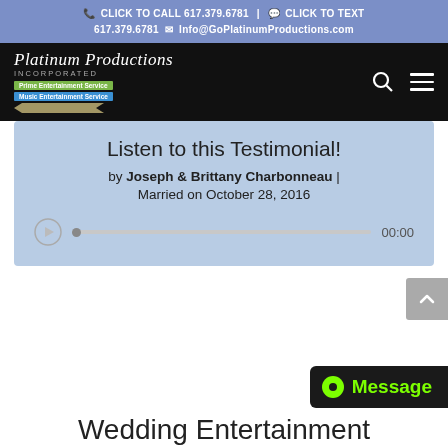CLICK TO CALL 617.379.6781 | CLICK TO TEXT 617.379.6781 Info@GoPlatinumProductions.com
[Figure (logo): Platinum Productions Incorporated logo with script text, green and blue badges, and chevron graphic, on black navigation bar with search and menu icons]
Listen to this Testimonial!
by Joseph & Brittany Charbonneau | Married on October 28, 2016
[Figure (other): Audio player with play button, progress bar and 00:00 time label]
Wedding Entertainment